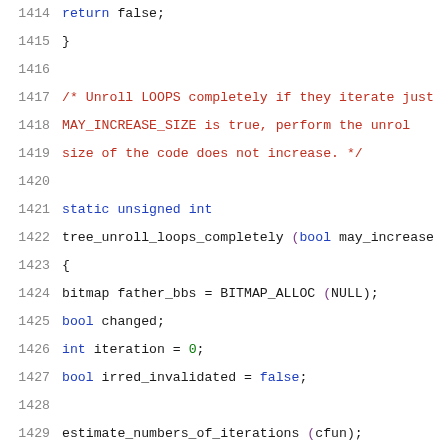Source code listing lines 1414-1435, showing C function tree_unroll_loops_completely with variable declarations and loop structure.